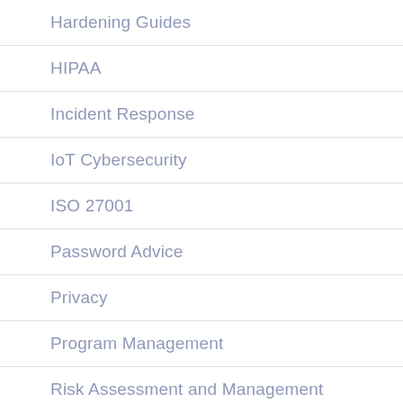Hardening Guides
HIPAA
Incident Response
IoT Cybersecurity
ISO 27001
Password Advice
Privacy
Program Management
Risk Assessment and Management